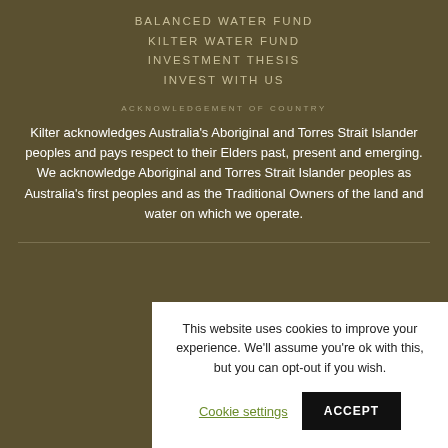BALANCED WATER FUND
KILTER WATER FUND
INVESTMENT THESIS
INVEST WITH US
ACKNOWLEDGEMENT OF COUNTRY
Kilter acknowledges Australia's Aboriginal and Torres Strait Islander peoples and pays respect to their Elders past, present and emerging. We acknowledge Aboriginal and Torres Strait Islander peoples as Australia's first peoples and as the Traditional Owners of the land and water on which we operate.
This website uses cookies to improve your experience. We'll assume you're ok with this, but you can opt-out if you wish.
Cookie settings
ACCEPT